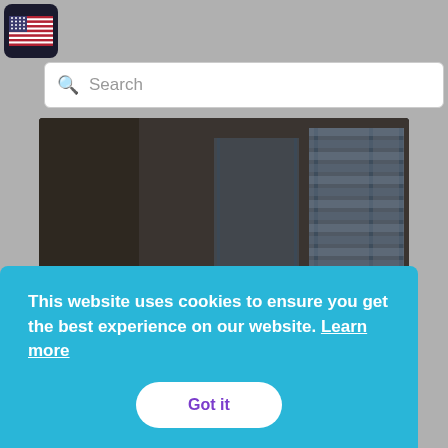[Figure (screenshot): US flag icon in dark rounded square, top left corner of webpage]
[Figure (screenshot): Search bar with magnifying glass icon and placeholder text 'Search']
[Figure (photo): Interior photo of an empty room with dark floors and large windows with blinds, watermarked with 'GH Greca House' logo overlay, price €520.000 and location Arcadia, Gortinia ,Kotili, Greece shown at bottom]
This website uses cookies to ensure you get the best experience on our website. Learn more
Got it